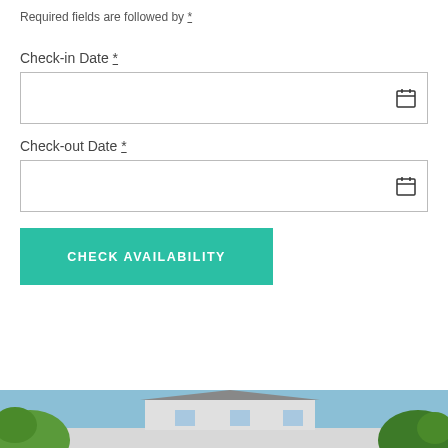Required fields are followed by *
Check-in Date *
Check-out Date *
CHECK AVAILABILITY
[Figure (photo): Exterior photo of a house or building with sky, foliage/trees visible in the foreground and corners]